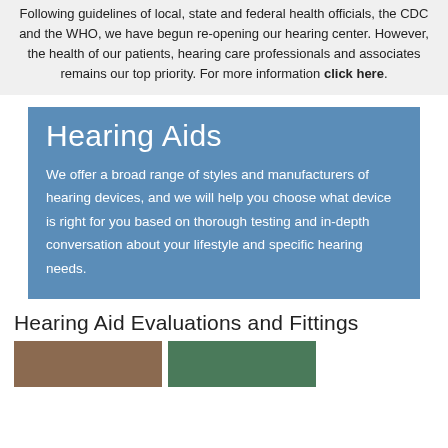Following guidelines of local, state and federal health officials, the CDC and the WHO, we have begun re-opening our hearing center. However, the health of our patients, hearing care professionals and associates remains our top priority. For more information click here.
Hearing Aids
We offer a broad range of styles and manufacturers of hearing devices, and we will help you choose what device is right for you based on thorough testing and in-depth conversation about your lifestyle and specific hearing needs.
Hearing Aid Evaluations and Fittings
[Figure (photo): Two images side by side at the bottom of the page, partially visible]